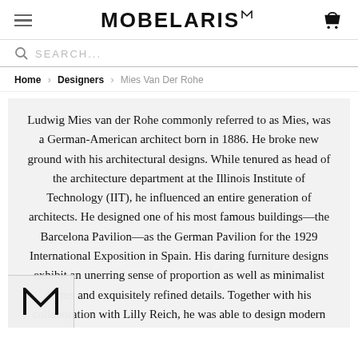MOBELARIS
SEARCH...
Home > Designers > Mies Van Der Rohe
Ludwig Mies van der Rohe commonly referred to as Mies, was a German-American architect born in 1886. He broke new ground with his architectural designs. While tenured as head of the architecture department at the Illinois Institute of Technology (IIT), he influenced an entire generation of architects. He designed one of his most famous buildings—the Barcelona Pavilion—as the German Pavilion for the 1929 International Exposition in Spain. His daring furniture designs exhibit an unerring sense of proportion as well as minimalist forms and exquisitely refined details. Together with his collaboration with Lilly Reich, he was able to design modern furniture pieces using new industrial technologies that have